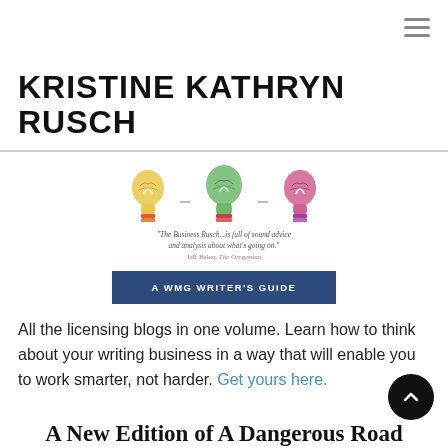KRISTINE KATHRYN RUSCH
[Figure (illustration): Three colorful lightbulb icons arranged in a row, with a quote below: '"The Business Rusch...is full of sound advice and analysis about what's going on." Jeff Baker, The Oregonian', and a dark blue button labeled 'A WMG WRITER'S GUIDE']
All the licensing blogs in one volume. Learn how to think about your writing business in a way that will enable you to work smarter, not harder. Get yours here.
A New Edition of A Dangerous Road